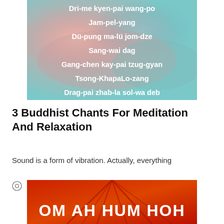[Figure (photo): Cloudy sky image (pink and teal) with white bold text listing Tibetan Buddhist chant lyrics: Dri-me kyen-pai wang-po, Jam-pel-yang, Dü-pung ma-lü jom-dze, Sang-wai dag, Gang-chen kay-pai tzug-gyan, Tsong-KhapaLo-zang, Drag-pai zhab-la sol-wa deb]
3 Buddhist Chants For Meditation And Relaxation
Sound is a form of vibration. Actually, everything
436
[Figure (photo): Red/orange image with tree branches and white bold text reading: OM AH HUM HOH]